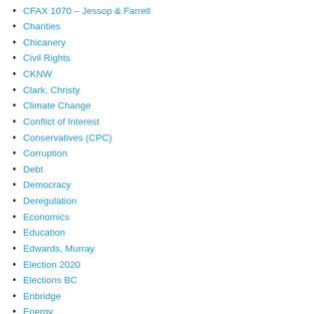CFAX 1070 – Jessop & Farrell
Charities
Chicanery
Civil Rights
CKNW
Clark, Christy
Climate Change
Conflict of Interest
Conservatives (CPC)
Corruption
Debt
Democracy
Deregulation
Economics
Education
Edwards, Murray
Election 2020
Elections BC
Enbridge
Energy
Energy – Wind
Environment
Ethics
Fascism
Fishery
FOI and Documentation
Forestry